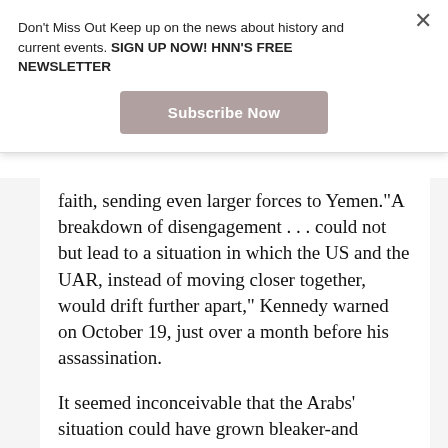Don't Miss Out Keep up on the news about history and current events. SIGN UP NOW! HNN'S FREE NEWSLETTER
[Figure (other): Subscribe Now button (newsletter signup)]
faith, sending even larger forces to Yemen."A breakdown of disengagement . . . could not but lead to a situation in which the US and the UAR, instead of moving closer together, would drift further apart," Kennedy warned on October 19, just over a month before his assassination.
It seemed inconceivable that the Arabs' situation could have grown bleaker-and